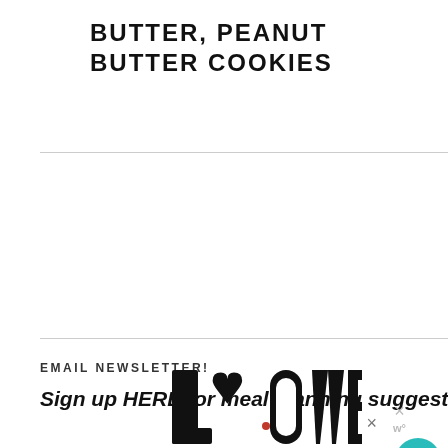BUTTER, PEANUT BUTTER COOKIES
EMAIL NEWSLETTER!
Sign up HERE for meal planning suggestions & tips to take a great trip!
[Figure (illustration): Decorative LOVE text graphic with ornate black and white illustration lettering and a small red heart detail]
[Figure (other): What's Next widget showing a circular photo of peppermint chunk cookies with teal arrow label and text 'Peppermint Chunk...']
[Figure (other): Social sidebar with teal heart button showing count 1, and a share button below]